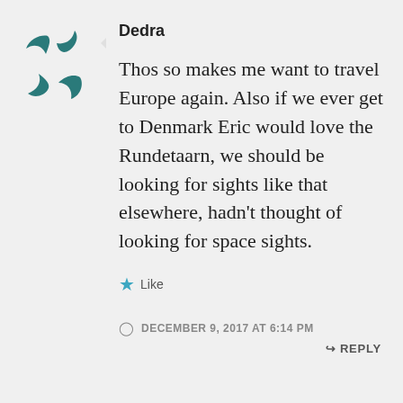[Figure (logo): Teal/dark pinwheel or asterisk-like logo made of curved arrow shapes]
Dedra
Thos so makes me want to travel Europe again. Also if we ever get to Denmark Eric would love the Rundetaarn, we should be looking for sights like that elsewhere, hadn't thought of looking for space sights.
Like
DECEMBER 9, 2017 AT 6:14 PM
REPLY